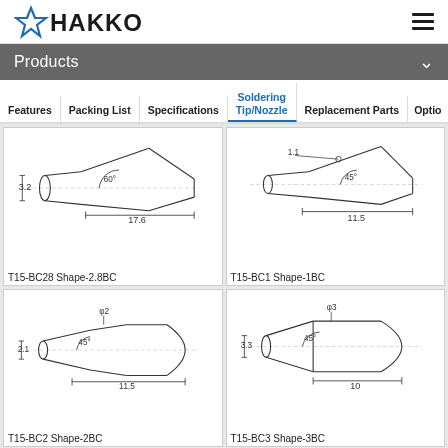HAKKO
Products
Features | Packing List | Specifications | Soldering Tip/Nozzle | Replacement Parts | Options
[Figure (engineering-diagram): T15-BC28 Shape-2.8BC soldering tip technical drawing with dimensions: 3.2, 60°, 17.6]
T15-BC28 Shape-2.8BC
[Figure (engineering-diagram): T15-BC1 Shape-1BC soldering tip technical drawing with dimensions: 1.1, 45°, 11.5]
T15-BC1 Shape-1BC
[Figure (engineering-diagram): T15-BC2 Shape-2BC soldering tip technical drawing with dimensions: φ2, 2.1, 45°, 11.5]
T15-BC2 Shape-2BC
[Figure (engineering-diagram): T15-BC3 Shape-3BC soldering tip technical drawing with dimensions: φ3, 3.3, 45°, 10]
T15-BC3 Shape-3BC